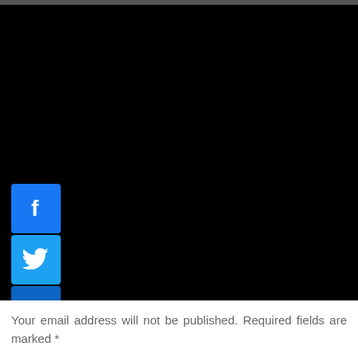[Figure (screenshot): Black background section with social media sharing icons on the left side: Facebook (blue), Twitter (blue), LinkedIn (blue), WhatsApp (green), and a More/Share button (blue)]
Your email address will not be published. Required fields are marked *